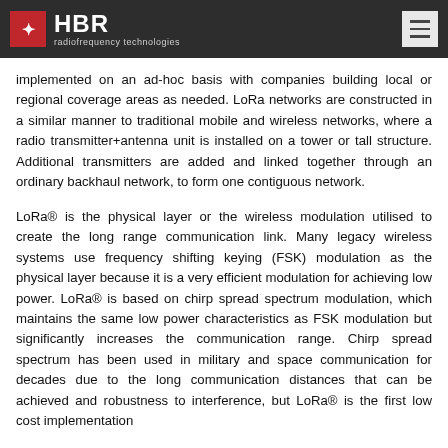HBR radiofrequency technologies
implemented on an ad-hoc basis with companies building local or regional coverage areas as needed. LoRa networks are constructed in a similar manner to traditional mobile and wireless networks, where a radio transmitter+antenna unit is installed on a tower or tall structure. Additional transmitters are added and linked together through an ordinary backhaul network, to form one contiguous network.
LoRa® is the physical layer or the wireless modulation utilised to create the long range communication link. Many legacy wireless systems use frequency shifting keying (FSK) modulation as the physical layer because it is a very efficient modulation for achieving low power. LoRa® is based on chirp spread spectrum modulation, which maintains the same low power characteristics as FSK modulation but significantly increases the communication range. Chirp spread spectrum has been used in military and space communication for decades due to the long communication distances that can be achieved and robustness to interference, but LoRa® is the first low cost implementation